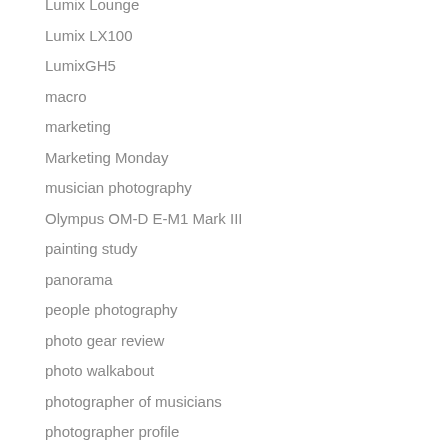Lumix Lounge
Lumix LX100
LumixGH5
macro
marketing
Marketing Monday
musician photography
Olympus OM-D E-M1 Mark III
painting study
panorama
people photography
photo gear review
photo walkabout
photographer of musicians
photographer profile